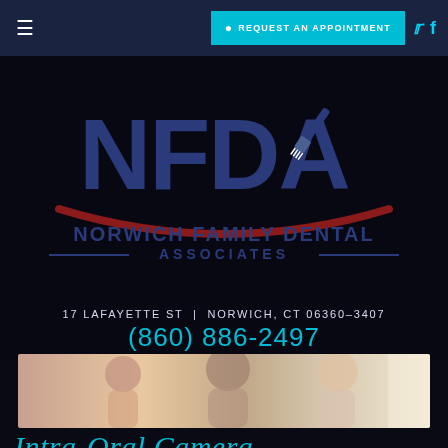Navigation bar with hamburger menu, REQUEST AN APPOINTMENT button, Twitter and Facebook icons
[Figure (logo): NFDA logo with toothbrush graphic and red smile arc, Norwich Family Dental Associates text below]
17 LAFAYETTE ST  |  NORWICH, CT 06360-3407
(860) 886-2497
[Figure (photo): Three smiling people - young girl, man, and woman]
Intra-Oral Camera